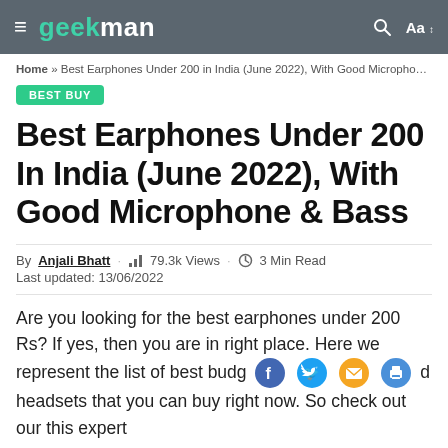geekman — navigation bar with hamburger menu, search icon, Aa font icon
Home » Best Earphones Under 200 in India (June 2022), With Good Micropho…
BEST BUY
Best Earphones Under 200 In India (June 2022), With Good Microphone & Bass
By Anjali Bhatt · 79.3k Views · 3 Min Read
Last updated: 13/06/2022
Are you looking for the best earphones under 200 Rs? If yes, then you are in right place. Here we represent the list of best budg [social icons] d headsets that you can buy right now. So check out our this expert